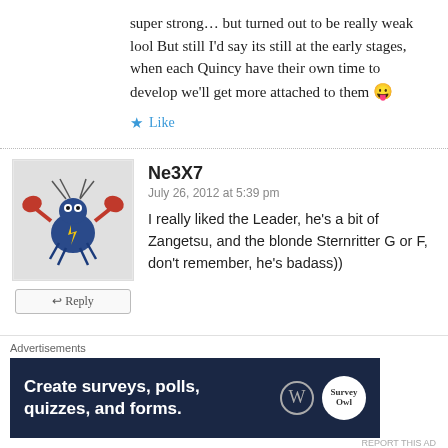super strong… but turned out to be really weak lool But still I'd say its still at the early stages, when each Quincy have their own time to develop we'll get more attached to them 😛
Like
[Figure (illustration): Avatar of user Ne3X7 showing a cartoon crab-like character in blue]
Ne3X7
July 26, 2012 at 5:39 pm
I really liked the Leader, he's a bit of Zangetsu, and the blonde Sternritter G or F, don't remember, he's badass))
[Figure (infographic): Advertisement banner: Create surveys, polls, quizzes, and forms. WordPress logo and Survey Owl logo on dark navy background.]